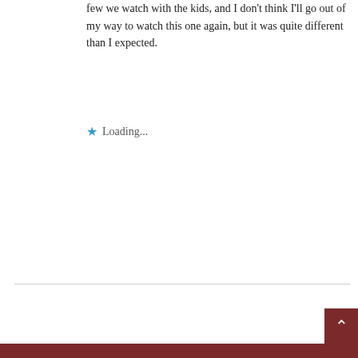few we watch with the kids, and I don't think I'll go out of my way to watch this one again, but it was quite different than I expected.
★ Loading...
Log in to Reply
akskeptic
February 9, 2012 at 2:07 pm
Hi Rebecca,
I just stumbled upon this article. I played Reverend Tiller in 'Christmas.' I thought you wrote a very fair, insightful review of the film. Since I am a non-believer, I too was impressed with the way Andre had crafted the story and was happy to be a part of the project.
Since they filmed entirely in Seward, Alaska, as f